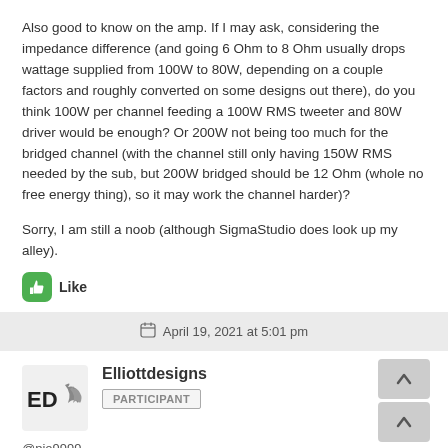Also good to know on the amp. If I may ask, considering the impedance difference (and going 6 Ohm to 8 Ohm usually drops wattage supplied from 100W to 80W, depending on a couple factors and roughly converted on some designs out there), do you think 100W per channel feeding a 100W RMS tweeter and 80W driver would be enough? Or 200W not being too much for the bridged channel (with the channel still only having 150W RMS needed by the sub, but 200W bridged should be 12 Ohm (whole no free energy thing), so it may work the channel harder)?
Sorry, I am still a noob (although SigmaStudio does look up my alley).
Like
April 19, 2021 at 5:01 pm
Elliottdesigns
PARTICIPANT
@pio9999